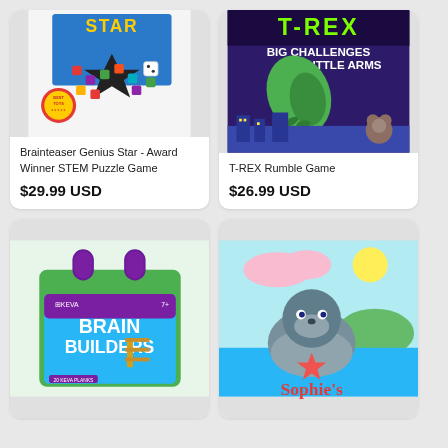[Figure (photo): Brainteaser Genius Star puzzle game box with colorful star-shaped pieces and a Best Toys award badge]
Brainteaser Genius Star - Award Winner STEM Puzzle Game
$29.99 USD
[Figure (photo): T-REX Rumble Game box showing a T-Rex with Big Challenges with Little Arms text]
T-REX Rumble Game
$26.99 USD
[Figure (photo): KEVA Brain Builders set in a green tote bag showing wooden planks and structures, for ages 7+]
[Figure (photo): Sophie's Seashell Scramble children's book cover featuring an otter holding a starfish]